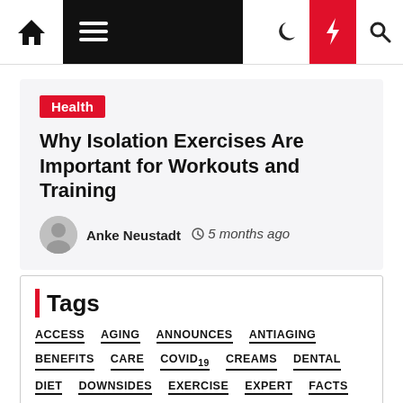Navigation bar with home, menu, moon, bolt, search icons
Health
Why Isolation Exercises Are Important for Workouts and Training
Anke Neustadt  5 months ago
Tags
ACCESS
AGING
ANNOUNCES
ANTIAGING
BENEFITS
CARE
COVID19
CREAMS
DENTAL
DIET
DOWNSIDES
EXERCISE
EXPERT
FACTS
FITNESS
FREE
FUTURE
GLOBAL
GROWTH